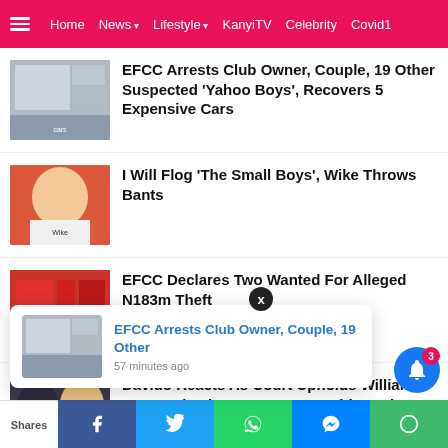Home  News  Lifestyle  KanyiTV  Celebrity  Covid1
EFCC Arrests Club Owner, Couple, 19 Other Suspected ‘Yahoo Boys’, Recovers 5 Expensive Cars
I Will Flog ‘The Small Boys’, Wike Throws Bants
EFCC Declares Two Wanted For Alleged N183m Theft
Davido Reacts As Court Upholds William Ruto’s Election As Kenya President-Elect
EFCC Arrests Club Owner, Couple, 19 Other
57 minutes ago